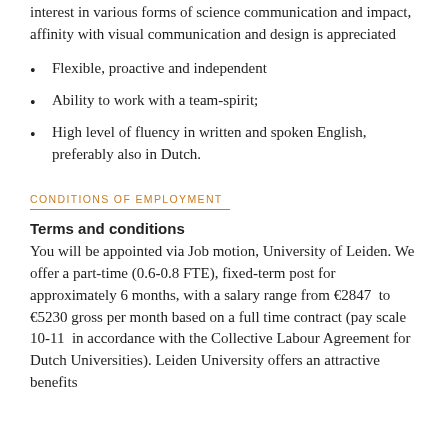interest in various forms of science communication and impact, affinity with visual communication and design is appreciated
Flexible, proactive and independent
Ability to work with a team-spirit;
High level of fluency in written and spoken English, preferably also in Dutch.
CONDITIONS OF EMPLOYMENT
Terms and conditions
You will be appointed via Job motion, University of Leiden. We offer a part-time (0.6-0.8 FTE), fixed-term post for approximately 6 months, with a salary range from €2847 to €5230 gross per month based on a full time contract (pay scale 10-11 in accordance with the Collective Labour Agreement for Dutch Universities). Leiden University offers an attractive benefits